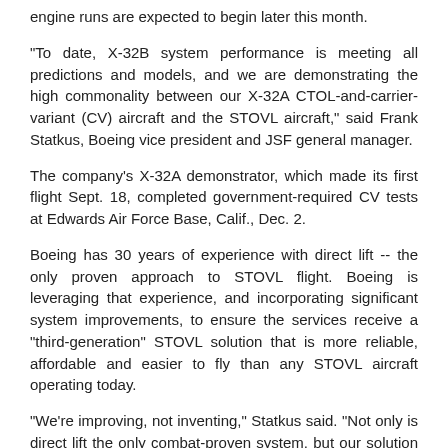engine runs are expected to begin later this month.
"To date, X-32B system performance is meeting all predictions and models, and we are demonstrating the high commonality between our X-32A CTOL-and-carrier- variant (CV) aircraft and the STOVL aircraft," said Frank Statkus, Boeing vice president and JSF general manager.
The company's X-32A demonstrator, which made its first flight Sept. 18, completed government-required CV tests at Edwards Air Force Base, Calif., Dec. 2.
Boeing has 30 years of experience with direct lift -- the only proven approach to STOVL flight. Boeing is leveraging that experience, and incorporating significant system improvements, to ensure the services receive a "third-generation" STOVL solution that is more reliable, affordable and easier to fly than any STOVL aircraft operating today.
"We're improving, not inventing," Statkus said. "Not only is direct lift the only combat-proven system, but our solution also is the simplest, safest and most efficient approach to STOVL flight."
To perform STOVL maneuvers, the system redirects engine thrust downward through lift nozzles in the airframe. For conventional flight the lift nozzles are closed so thrust flows rearward through a